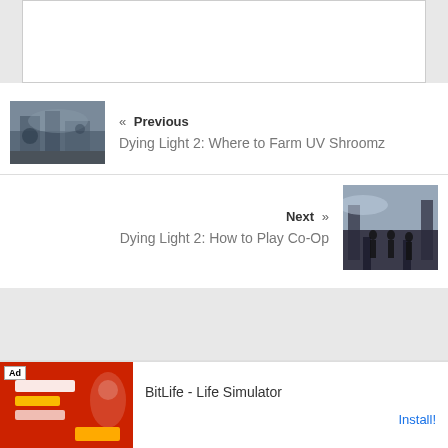[Figure (screenshot): Top white content area, partially visible screenshot or empty box]
[Figure (screenshot): Navigation thumbnail for previous article: Dying Light 2 game scene with post-apocalyptic city]
« Previous
Dying Light 2: Where to Farm UV Shroomz
Next »
Dying Light 2: How to Play Co-Op
[Figure (screenshot): Navigation thumbnail for next article: Dying Light 2 co-op game scene with characters on rooftop]
[Figure (screenshot): Ad banner: BitLife Life Simulator app advertisement with red background showing game imagery]
BitLife - Life Simulator
Install!